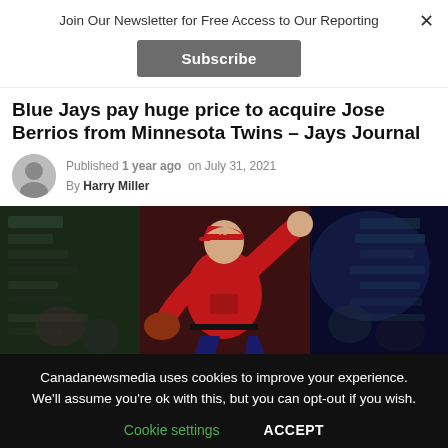Join Our Newsletter for Free Access to Our Reporting
Subscribe
Blue Jays pay huge price to acquire Jose Berrios from Minnesota Twins – Jays Journal
Published 1 year ago  on July 31, 2021
By Harry Miller
[Figure (photo): Baseball pitcher in red Minnesota Twins uniform mid-pitch, crowd and scoreboard blurred in background]
Canadanewsmedia uses cookies to improve your experience. We'll assume you're ok with this, but you can opt-out if you wish.
Cookie settings   ACCEPT